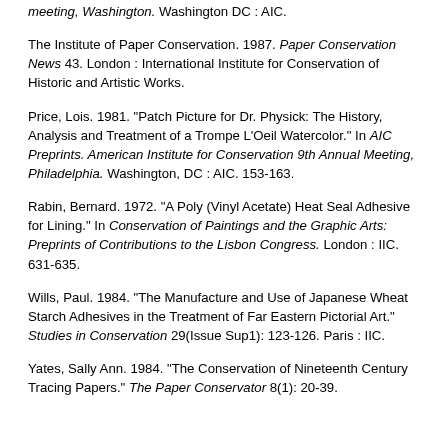meeting, Washington. Washington DC : AIC.
The Institute of Paper Conservation. 1987. Paper Conservation News 43. London : International Institute for Conservation of Historic and Artistic Works.
Price, Lois. 1981. "Patch Picture for Dr. Physick: The History, Analysis and Treatment of a Trompe L'Oeil Watercolor." In AIC Preprints. American Institute for Conservation 9th Annual Meeting, Philadelphia. Washington, DC : AIC. 153-163.
Rabin, Bernard. 1972. "A Poly (Vinyl Acetate) Heat Seal Adhesive for Lining." In Conservation of Paintings and the Graphic Arts: Preprints of Contributions to the Lisbon Congress. London : IIC. 631-635.
Wills, Paul. 1984. "The Manufacture and Use of Japanese Wheat Starch Adhesives in the Treatment of Far Eastern Pictorial Art." Studies in Conservation 29(Issue Sup1): 123-126. Paris : IIC.
Yates, Sally Ann. 1984. "The Conservation of Nineteenth Century Tracing Papers." The Paper Conservator 8(1): 20-39.